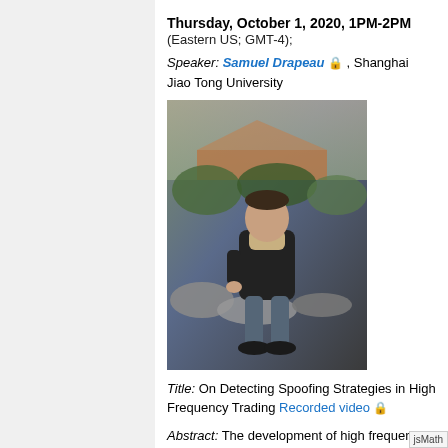Thursday, October 1, 2020, 1PM-2PM
(Eastern US; GMT-4);
Speaker: Samuel Drapeau 🔒 , Shanghai Jiao Tong University
[Figure (photo): Photo of Samuel Drapeau seated on rocks outdoors, wearing a dark jacket and scarf]
Title: On Detecting Spoofing Strategies in High Frequency Trading Recorded video 🔒
Abstract: The development of high frequency and algorithmic trading allowed to considerably reduce the bid ask spread by increasing liquidity in limit order books. Beyond the problem of optimal placement of market and limit orders, the possibility to cancel orders for free leaves room for price manipulations, o